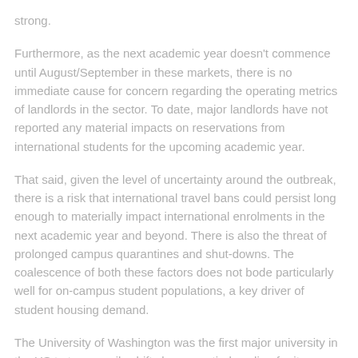strong.
Furthermore, as the next academic year doesn't commence until August/September in these markets, there is no immediate cause for concern regarding the operating metrics of landlords in the sector. To date, major landlords have not reported any material impacts on reservations from international students for the upcoming academic year.
That said, given the level of uncertainty around the outbreak, there is a risk that international travel bans could persist long enough to materially impact international enrolments in the next academic year and beyond. There is also the threat of prolonged campus quarantines and shut-downs. The coalescence of both these factors does not bode particularly well for on-campus student populations, a key driver of student housing demand.
The University of Washington was the first major university in the US to temporarily shift classes entirely online for its